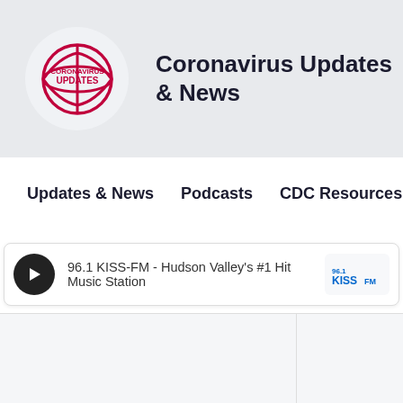[Figure (logo): Coronavirus Updates circular logo with red globe icon and text CORONAVIRUS UPDATES]
Coronavirus Updates & News
Updates & News   Podcasts   CDC Resources
96.1 KISS-FM - Hudson Valley's #1 Hit Music Station